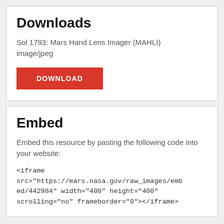Downloads
Sol 1793: Mars Hand Lens Imager (MAHLI)
image/jpeg
DOWNLOAD
Embed
Embed this resource by pasting the following code into your website:
<iframe src="https://mars.nasa.gov/raw_images/embed/442984" width="400" height="400" scrolling="no" frameborder="0"></iframe>